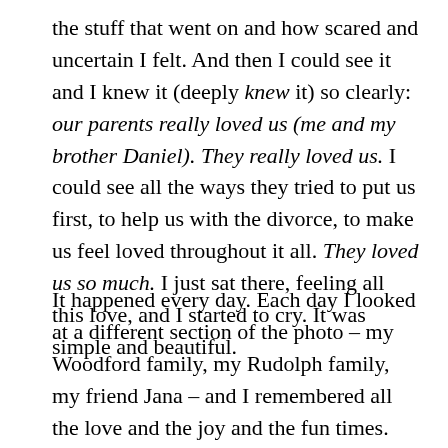the stuff that went on and how scared and uncertain I felt. And then I could see it and I knew it (deeply knew it) so clearly: our parents really loved us (me and my brother Daniel). They really loved us. I could see all the ways they tried to put us first, to help us with the divorce, to make us feel loved throughout it all. They loved us so much. I just sat there, feeling all this love, and I started to cry. It was simple and beautiful.
It happened every day. Each day I looked at a different section of the photo – my Woodford family, my Rudolph family, my friend Jana – and I remembered all the love and the joy and the fun times. All of the laughter. There was so much laughter. All of the goodness over my